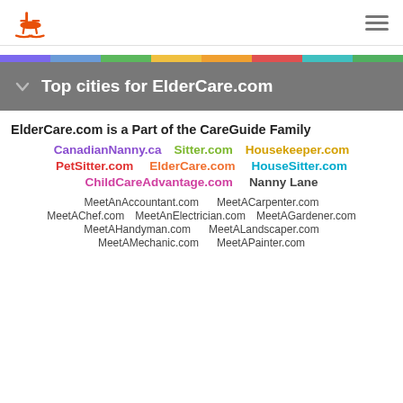ElderCare.com logo and navigation menu
[Figure (infographic): Colorful horizontal stripe band with multiple colors: purple, blue, green, yellow, orange, red, teal]
Top cities for ElderCare.com
ElderCare.com is a Part of the CareGuide Family
CanadianNanny.ca   Sitter.com   Housekeeper.com   PetSitter.com   ElderCare.com   HouseSitter.com   ChildCareAdvantage.com   Nanny Lane
MeetAnAccountant.com   MeetACarpenter.com   MeetAChef.com   MeetAnElectrician.com   MeetAGardener.com   MeetAHandyman.com   MeetALandscaper.com   MeetAMechanic.com   MeetAPainter.com